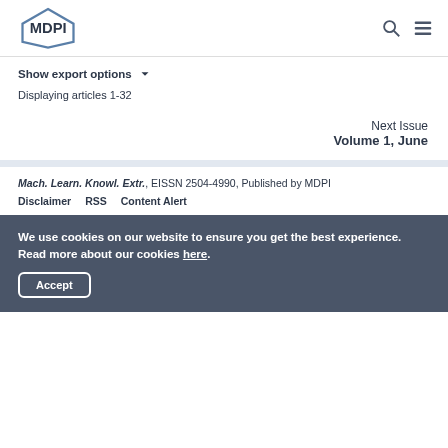MDPI [logo] [search icon] [menu icon]
Show export options ▾
Displaying articles 1-32
Next Issue
Volume 1, June
Mach. Learn. Knowl. Extr., EISSN 2504-4990, Published by MDPI
Disclaimer   RSS   Content Alert
We use cookies on our website to ensure you get the best experience. Read more about our cookies here.
Accept